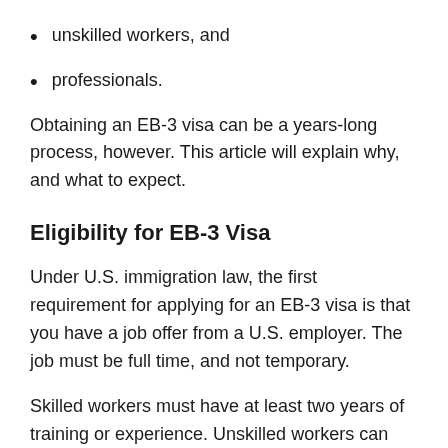unskilled workers, and
professionals.
Obtaining an EB-3 visa can be a years-long process, however. This article will explain why, and what to expect.
Eligibility for EB-3 Visa
Under U.S. immigration law, the first requirement for applying for an EB-3 visa is that you have a job offer from a U.S. employer. The job must be full time, and not temporary.
Skilled workers must have at least two years of training or experience. Unskilled workers can apply